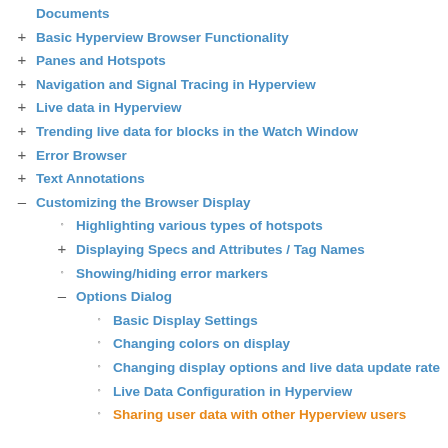Documents
Basic Hyperview Browser Functionality
Panes and Hotspots
Navigation and Signal Tracing in Hyperview
Live data in Hyperview
Trending live data for blocks in the Watch Window
Error Browser
Text Annotations
Customizing the Browser Display
Highlighting various types of hotspots
Displaying Specs and Attributes / Tag Names
Showing/hiding error markers
Options Dialog
Basic Display Settings
Changing colors on display
Changing display options and live data update rate
Live Data Configuration in Hyperview
Sharing user data with other Hyperview users